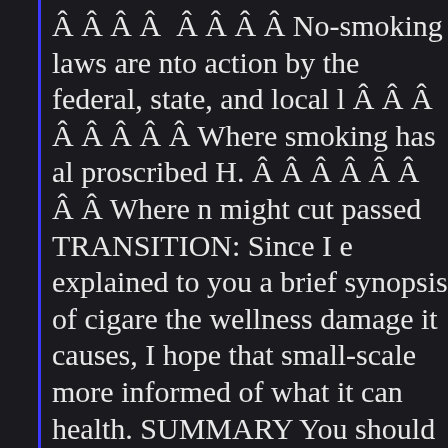Â Â Â Â  Â Â Â Â No-smoking laws are nto action by the federal, state, and local l Â Â Â Â Â Â Â Â Where smoking has al proscribed H. Â Â Â Â Â Â Â Â Where n might cut passed TRANSITION: Since I e explained to you a brief synopsis of cigare the wellness damage it causes, I hope that small-scale more informed of what it can health. SUMMARY You should all now u several(prenominal) of the important facts smoking The... If you necessity to get a fu on our website: OrderCustomPaper.com